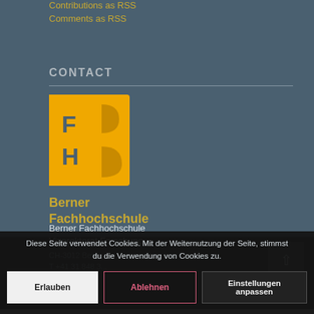Contributions as RSS
Comments as RSS
CONTACT
[Figure (logo): BFH Berner Fachhochschule yellow logo with 'FH' letters inside a stylized B shape]
Berner Fachhochschule
Berner Fachhochschule
Vizerektorat Forschung
Falkenplatz 24
CH-3012 Bern
T +41 31 848 3...
Diese Seite verwendet Cookies. Mit der Weiternutzung der Seite, stimmst du die Verwendung von Cookies zu.